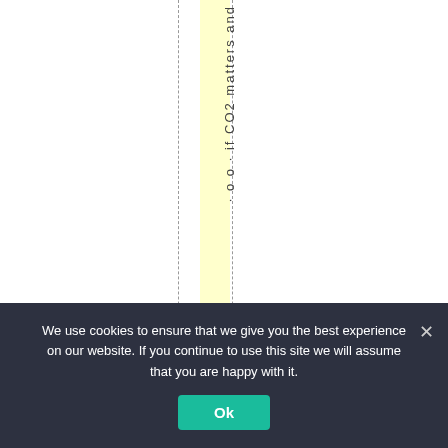if CO2 matters and
We use cookies to ensure that we give you the best experience on our website. If you continue to use this site we will assume that you are happy with it. Ok